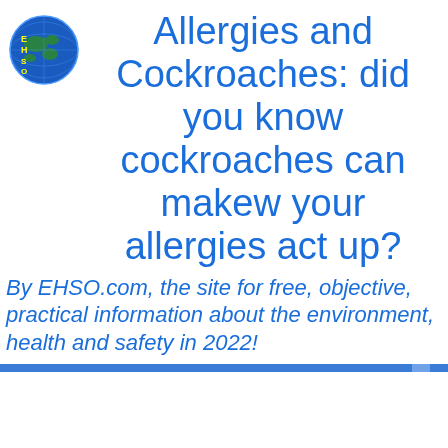[Figure (logo): EHSO globe logo with letters E, H, S, O on a blue globe with continents]
Allergies and Cockroaches: did you know cockroaches can makew your allergies act up?
By EHSO.com, the site for free, objective, practical information about the environment, health and safety in 2022!